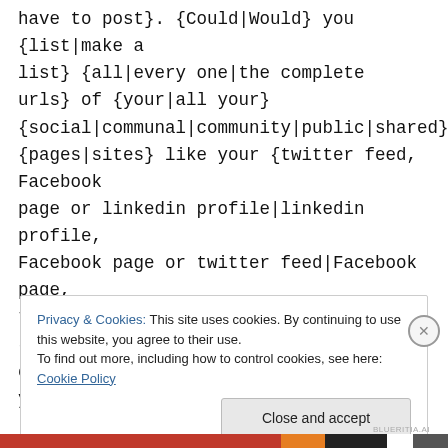have to post}. {Could|Would} you {list|make a list} {all|every one|the complete urls} of {your|all your} {social|communal|community|public|shared} {pages|sites} like your {twitter feed, Facebook page or linkedin profile|linkedin profile, Facebook page or twitter feed|Facebook page, twitter feed, or linkedin profile}?| {Hi there|Hello}, I enjoy reading {all of|through} your {article|post|article post}.
Privacy & Cookies: This site uses cookies. By continuing to use this website, you agree to their use.
To find out more, including how to control cookies, see here: Cookie Policy